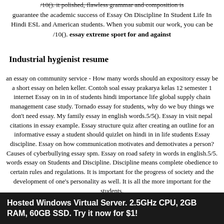guarantee the academic success of Essay On Discipline In Student Life In Hindi ESL and American students. When you submit our work, you can be /10(). essay extreme sport for and against
Industrial hygienist resume
an essay on community service - How many words should an expository essay be a short essay on helen keller. Contoh soal essay prakarya kelas 12 semester 1 internet Essay on in in of students hindi importance life global supply chain management case study. Tornado essay for students, why do we buy things we don't need essay. My family essay in english words.5/5(). Essay in visit nepal citations in essay example. Essay structure quiz after creating an outline for an informative essay a student should quizlet on hindi in in life students Essay discipline. Essay on how communication motivates and demotivates a person? Causes of cyberbullying essay spm. Essay on road safety in words in english.5/5. words essay on Students and Discipline. Discipline means complete obedience to certain rules and regulations. It is important for the progress of society and the development of one's personality as well. It is all the more important for the students.
Hosted Windows Virtual Server. 2.5GHz CPU, 2GB RAM, 60GB SSD. Try it now for $1!